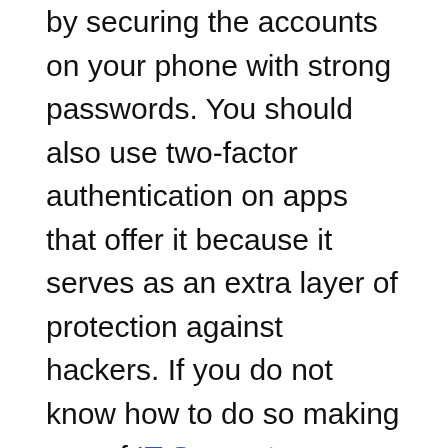by securing the accounts on your phone with strong passwords. You should also use two-factor authentication on apps that offer it because it serves as an extra layer of protection against hackers. If you do not know how to do so making use of IT Support businesses is a great idea.
Use a VPN
A VPN disguises your connection so that hackers are not able to gain access to your information when making use of public Wi-FI networks. Having a VPN connection, you know that your sensitive data, documents and activities are protected from hackers which is a great feeling. All businesses should make use of a VPN to ensure not only the